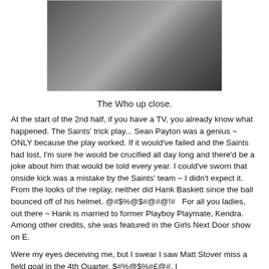[Figure (photo): Close-up photo of people at a crowded event, seen from behind, with one person having a shaved head]
The Who up close.
At the start of the 2nd half, if you have a TV, you already know what happened.  The Saints' trick play...  Sean Payton was a genius ~ ONLY because the play worked.  If it would've failed and the Saints had lost, I'm sure he would be crucified all day long and there'd be a joke about him that would be told every year.  I could've sworn that onside kick was a mistake by the Saints' team ~ I didn't expect it.  From the looks of the replay, neither did Hank Baskett since the ball bounced off of his helmet.  @#$%@$#@#@!#   For all you ladies, out there ~ Hank is married to former Playboy Playmate, Kendra.  Among other credits, she was featured in the Girls Next Door show on E.
Were my eyes deceiving me, but I swear I saw Matt Stover miss a field goal in the 4th Quarter.  $#%@$%#£@#.  I